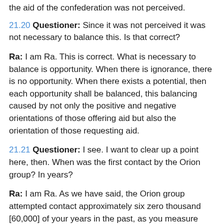the aid of the confederation was not perceived.
21.20 Questioner: Since it was not perceived it was not necessary to balance this. Is that correct?
Ra: I am Ra. This is correct. What is necessary to balance is opportunity. When there is ignorance, there is no opportunity. When there exists a potential, then each opportunity shall be balanced, this balancing caused by not only the positive and negative orientations of those offering aid but also the orientation of those requesting aid.
21.21 Questioner: I see. I want to clear up a point here, then. When was the first contact by the Orion group? In years?
Ra: I am Ra. As we have said, the Orion group attempted contact approximately six zero thousand [60,000] of your years in the past, as you measure time.